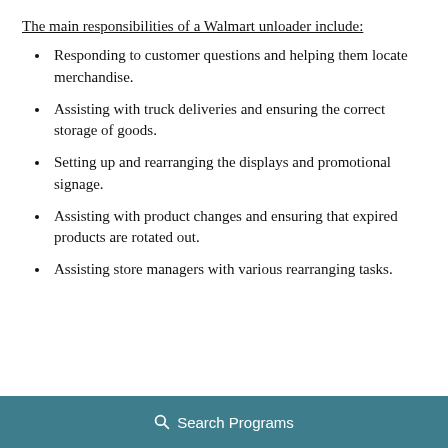The main responsibilities of a Walmart unloader include:
Responding to customer questions and helping them locate merchandise.
Assisting with truck deliveries and ensuring the correct storage of goods.
Setting up and rearranging the displays and promotional signage.
Assisting with product changes and ensuring that expired products are rotated out.
Assisting store managers with various rearranging tasks.
🔍 Search Programs